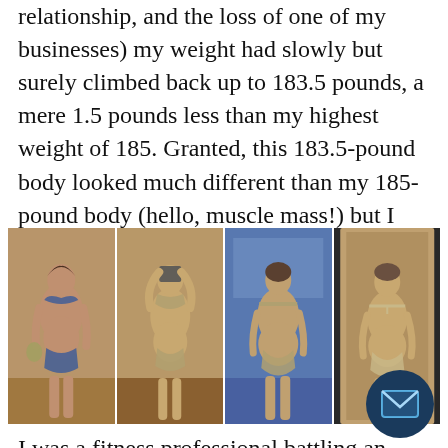relationship, and the loss of one of my businesses) my weight had slowly but surely climbed back up to 183.5 pounds, a mere 1.5 pounds less than my highest weight of 185. Granted, this 183.5-pound body looked much different than my 185-pound body (hello, muscle mass!) but I still felt like a failure.
[Figure (photo): Four side-by-side photos of a woman in a bikini showing her body from front and back views]
I was a fitness professional battling an enormous amount of life and professional